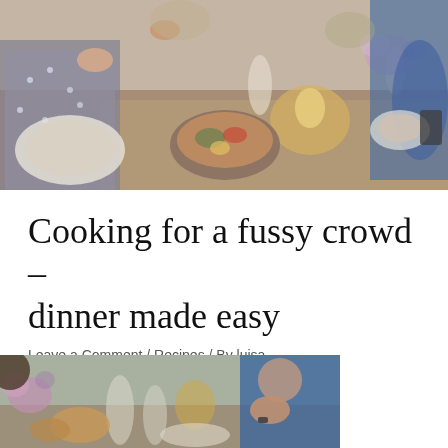[Figure (photo): Overhead view of people gathered around a dinner table with food, drinks, candles, and flowers]
Cooking for a fussy crowd – dinner made easy
Leave a Comment / Recipes / By luisa
[Figure (photo): People seated at a dinner table with food, wine glasses, and flowers, partial view]